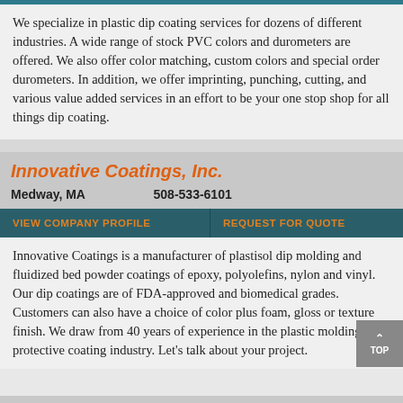We specialize in plastic dip coating services for dozens of different industries. A wide range of stock PVC colors and durometers are offered. We also offer color matching, custom colors and special order durometers. In addition, we offer imprinting, punching, cutting, and various value added services in an effort to be your one stop shop for all things dip coating.
Innovative Coatings, Inc.
Medway, MA   508-533-6101
VIEW COMPANY PROFILE   REQUEST FOR QUOTE
Innovative Coatings is a manufacturer of plastisol dip molding and fluidized bed powder coatings of epoxy, polyolefins, nylon and vinyl. Our dip coatings are of FDA-approved and biomedical grades. Customers can also have a choice of color plus foam, gloss or texture finish. We draw from 40 years of experience in the plastic molding and protective coating industry. Let's talk about your project.